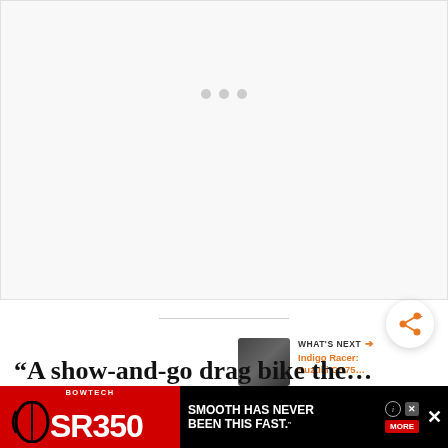[Figure (other): Large placeholder image area with loading dots — main article image loading state, white/light gray background]
[Figure (other): Share button — circular white button with orange share/network icon]
[Figure (other): What's Next promo box with thumbnail of a motorcycle engine (Indigo Racer: Suzuki GS75...) and orange arrow label]
“A show-and-go drag bike the… run in the gas class, that he could s… ke… ut
[Figure (other): Bowtech SR350 advertisement banner — red and black background with bow silhouette, SR350 logo, and 'SMOOTH HAS NEVER BEEN THIS FAST.' tagline with MORE button and close/info controls]